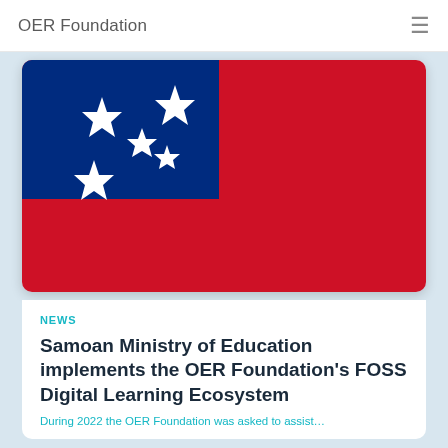OER Foundation
[Figure (illustration): Flag of Samoa — red background with blue canton containing five white five-pointed stars in Southern Cross pattern]
NEWS
Samoan Ministry of Education implements the OER Foundation's FOSS Digital Learning Ecosystem
During 2022 the OER Foundation was asked to assist…